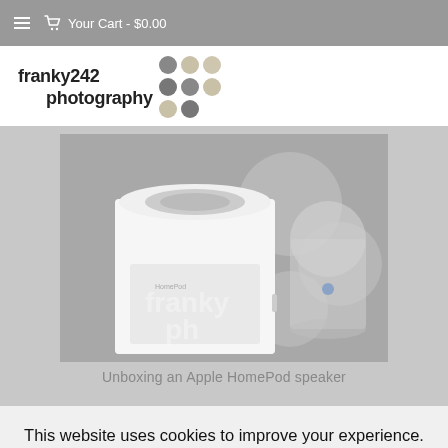Your Cart - $0.00
[Figure (logo): franky242 photography logo with grid of colored dots]
[Figure (photo): Photo of an Apple HomePod speaker unboxing, showing white cube-shaped speaker and cylindrical HomePod with watermark overlay of franky photography logo]
Unboxing an Apple HomePod speaker
This website uses cookies to improve your experience. We'll assume you're ok with this, but you can opt-out if you wish.
Accept  Read More